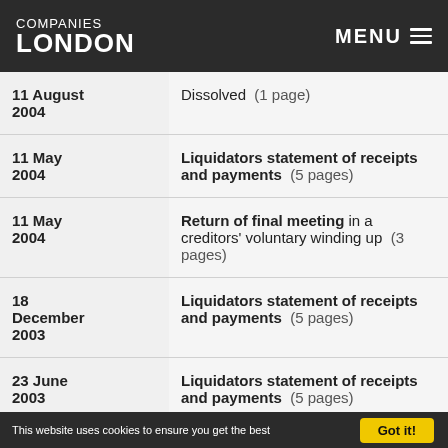COMPANIES LONDON | MENU
| Date | Filing |
| --- | --- |
| 11 August 2004 | Dissolved (1 page) |
| 11 May 2004 | Liquidators statement of receipts and payments (5 pages) |
| 11 May 2004 | Return of final meeting in a creditors' voluntary winding up (3 pages) |
| 18 December 2003 | Liquidators statement of receipts and payments (5 pages) |
| 23 June 2003 | Liquidators statement of receipts and payments (5 pages) |
This website uses cookies to ensure you get the best   Got it!